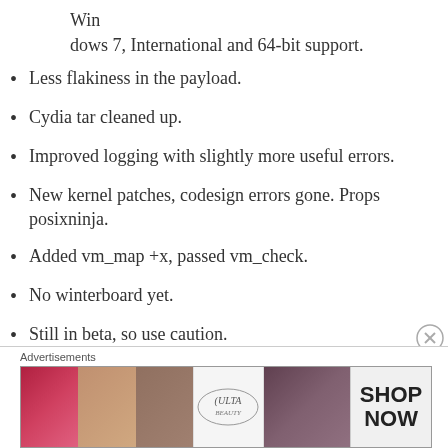Win
dows 7, International and 64-bit support.
Less flakiness in the payload.
Cydia tar cleaned up.
Improved logging with slightly more useful errors.
New kernel patches, codesign errors gone. Props posixninja.
Added vm_map +x, passed vm_check.
No winterboard yet.
Still in beta, so use caution.
[Figure (other): Advertisement banner for ULTA beauty with cosmetic images and SHOP NOW call to action]